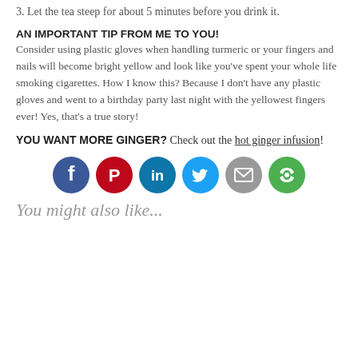3. Let the tea steep for about 5 minutes before you drink it.
AN IMPORTANT TIP FROM ME TO YOU!
Consider using plastic gloves when handling turmeric or your fingers and nails will become bright yellow and look like you've spent your whole life smoking cigarettes. How I know this? Because I don't have any plastic gloves and went to a birthday party last night with the yellowest fingers ever! Yes, that's a true story!
YOU WANT MORE GINGER? Check out the hot ginger infusion!
[Figure (infographic): Six social media sharing icons in a row: Facebook (dark blue), Pinterest (red), LinkedIn (teal), Twitter (light blue), Email (grey), and More (green).]
You might also like...